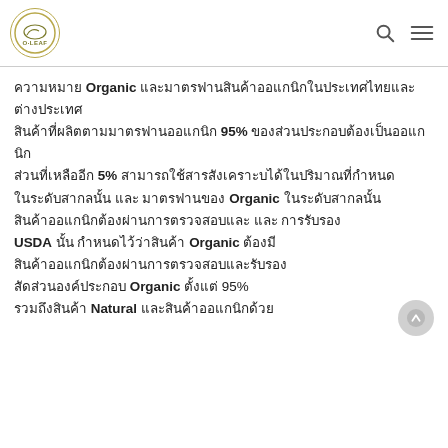O-LEAF logo with search and menu icons
ความหมาย Organic และมาตรฐานสินค้าออแกนิกในประเทศไทยและต่างประเทศ สินค้าที่ผลิตตามมาตรฐานออแกนิก 95% ของส่วนประกอบต้องเป็นออแกนิก ส่วนที่เหลืออีก 5% สามารถใช้สารสังเคราะห์ได้ในปริมาณที่กำหนด Organic ในระดับสากลนั้น และ มาตรฐานของ USDA นั้น กำหนดไว้ว่าสินค้า Organic ต้องมี Natural ในสัดส่วนที่กำหนด